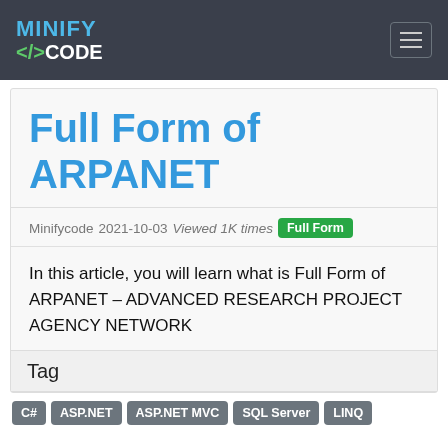MINIFY </> CODE
Full Form of ARPANET
Minifycode 2021-10-03 Viewed 1K times Full Form
In this article, you will learn what is Full Form of ARPANET – ADVANCED RESEARCH PROJECT AGENCY NETWORK
Tag
C#
ASP.NET
ASP.NET MVC
SQL Server
LINQ